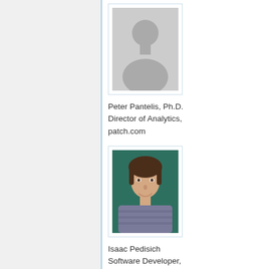[Figure (photo): Placeholder silhouette profile photo for Peter Pantelis]
Peter Pantelis, Ph.D.
Director of Analytics,
patch.com
[Figure (photo): Headshot photo of Isaac Pedisich, young man with brown hair smiling, green background]
Isaac Pedisich
Software Developer,
University of